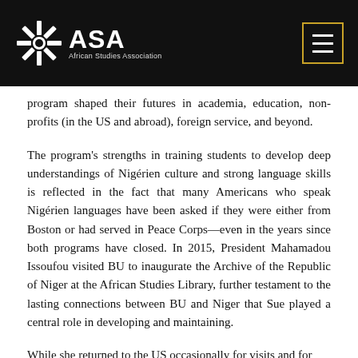ASA African Studies Association
program shaped their futures in academia, education, non-profits (in the US and abroad), foreign service, and beyond.
The program’s strengths in training students to develop deep understandings of Nigérien culture and strong language skills is reflected in the fact that many Americans who speak Nigérien languages have been asked if they were either from Boston or had served in Peace Corps—even in the years since both programs have closed. In 2015, President Mahamadou Issoufou visited BU to inaugurate the Archive of the Republic of Niger at the African Studies Library, further testament to the lasting connections between BU and Niger that Sue played a central role in developing and maintaining.
While she returned to the US occasionally for visits and for